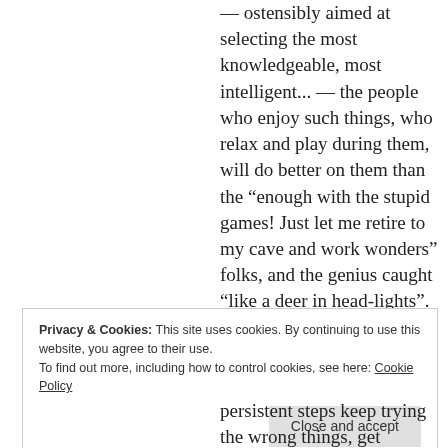— ostensibly aimed at selecting the most knowledgeable, most intelligent... — the people who enjoy such things, who relax and play during them, will do better on them than the “enough with the stupid games! Just let me retire to my cave and work wonders” folks, and the genius caught “like a deer in head-lights”.
Privacy & Cookies: This site uses cookies. By continuing to use this website, you agree to their use.
To find out more, including how to control cookies, see here: Cookie Policy
Close and accept
persistent steps keep trying the wrong things, get